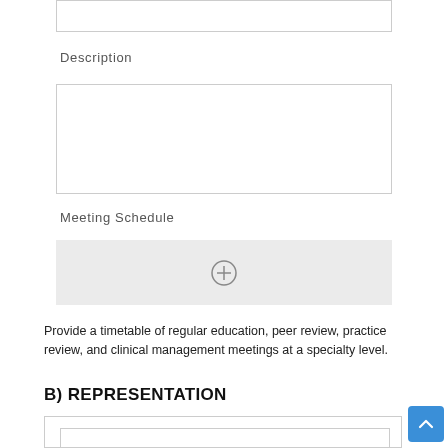Description
Meeting Schedule
Provide a timetable of regular education, peer review, practice review, and clinical management meetings at a specialty level.
B) REPRESENTATION